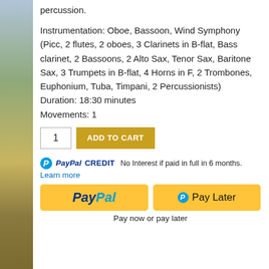percussion.
Instrumentation: Oboe, Bassoon, Wind Symphony (Picc, 2 flutes, 2 oboes, 3 Clarinets in B-flat, Bass clarinet, 2 Bassoons, 2 Alto Sax, Tenor Sax, Baritone Sax, 3 Trumpets in B-flat, 4 Horns in F, 2 Trombones, Euphonium, Tuba, Timpani, 2 Percussionists)
Duration: 18:30 minutes
Movements: 1
ADD TO CART
PayPal CREDIT  No Interest if paid in full in 6 months.
Learn more
[Figure (other): PayPal and Pay Later payment buttons with PayPal CREDIT option]
Pay now or pay later